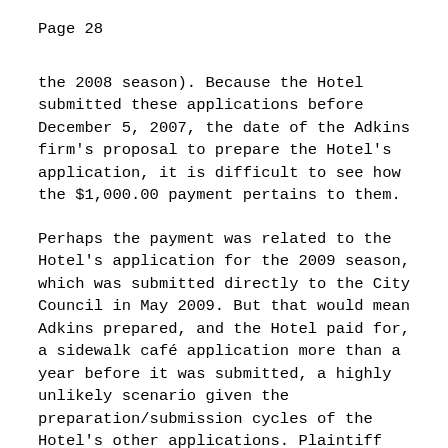Page 28
the 2008 season). Because the Hotel submitted these applications before December 5, 2007, the date of the Adkins firm's proposal to prepare the Hotel's application, it is difficult to see how the $1,000.00 payment pertains to them.
Perhaps the payment was related to the Hotel's application for the 2009 season, which was submitted directly to the City Council in May 2009. But that would mean Adkins prepared, and the Hotel paid for, a sidewalk café application more than a year before it was submitted, a highly unlikely scenario given the preparation/submission cycles of the Hotel's other applications. Plaintiff offers no explanation for the discrepancy between the dates of the proposal and the Hotel's